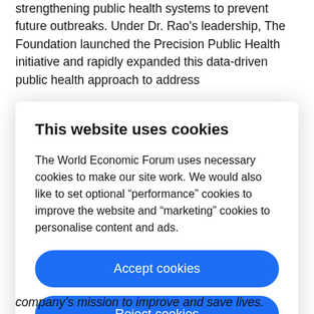strengthening public health systems to prevent future outbreaks. Under Dr. Rao's leadership, The Foundation launched the Precision Public Health initiative and rapidly expanded this data-driven public health approach to address
This website uses cookies
The World Economic Forum uses necessary cookies to make our site work. We would also like to set optional “performance” cookies to improve the website and “marketing” cookies to personalise content and ads.
Accept cookies
Reject cookies
Cookie settings
company’s mission to improve and save lives.